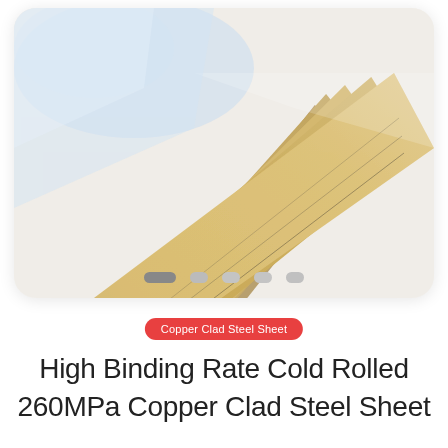[Figure (photo): Stacked copper clad steel sheets photographed at an angle, showing metallic golden-brown surfaces fanned out, displayed inside a rounded white card frame with pagination dots below]
Copper Clad Steel Sheet
High Binding Rate Cold Rolled 260MPa Copper Clad Steel Sheet